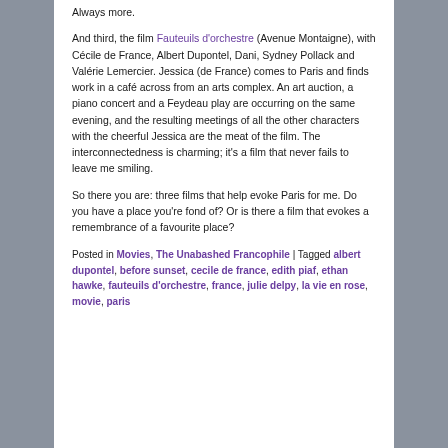Always more.
And third, the film Fauteuils d'orchestre (Avenue Montaigne), with Cécile de France, Albert Dupontel, Dani, Sydney Pollack and Valérie Lemercier. Jessica (de France) comes to Paris and finds work in a café across from an arts complex. An art auction, a piano concert and a Feydeau play are occurring on the same evening, and the resulting meetings of all the other characters with the cheerful Jessica are the meat of the film. The interconnectedness is charming; it's a film that never fails to leave me smiling.
So there you are: three films that help evoke Paris for me. Do you have a place you're fond of? Or is there a film that evokes a remembrance of a favourite place?
Posted in Movies, The Unabashed Francophile | Tagged albert dupontel, before sunset, cecile de france, edith piaf, ethan hawke, fauteuils d'orchestre, france, julie delpy, la vie en rose, movie, paris